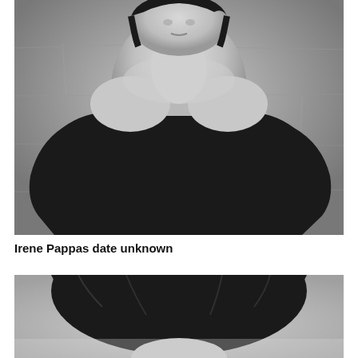[Figure (photo): Black and white photograph of Irene Pappas, a woman wearing a black off-shoulder dress, seated against a stone/brick wall background. The photo shows her from approximately the waist up.]
Irene Pappas date unknown
[Figure (photo): Black and white photograph showing the top portion of a person's head with dark hair, partially cropped at the bottom of the page.]